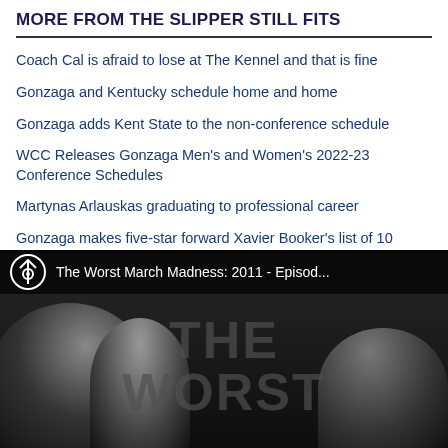MORE FROM THE SLIPPER STILL FITS
Coach Cal is afraid to lose at The Kennel and that is fine
Gonzaga and Kentucky schedule home and home
Gonzaga adds Kent State to the non-conference schedule
WCC Releases Gonzaga Men’s and Women’s 2022-23 Conference Schedules
Martynas Arlauskas graduating to professional career
Gonzaga makes five-star forward Xavier Booker’s list of 10 schools
[Figure (screenshot): Video thumbnail showing 'The Worst March Madness: 2011 - Episod...' with a YouTube-style player overlay, featuring a group of people in black and white with large text 'THE WORST' overlaid]